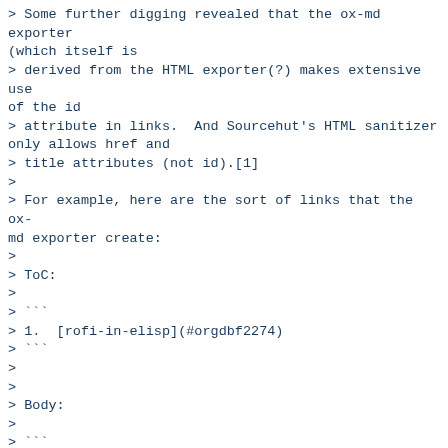> Some further digging revealed that the ox-md exporter (which itself is
> derived from the HTML exporter(?) makes extensive use of the id
> attribute in links.  And Sourcehut's HTML sanitizer only allows href and
> title attributes (not id).[1]
>
> For example, here are the sort of links that the ox-md exporter create:
>
> ToC:
>
> ```
> 1.  [rofi-in-elisp](#orgdbf2274)
> ```
>
>
> Body:
>
> ```
> <a id="orgdbf2274"></a>
>
> # rofi-in-elisp
> ```
>
>
> Above was copied straight from Eli Schwartz reply to me in my post to
> Sourcehut mailing list about this[0] (although I had already noticed the
> same thing as well).